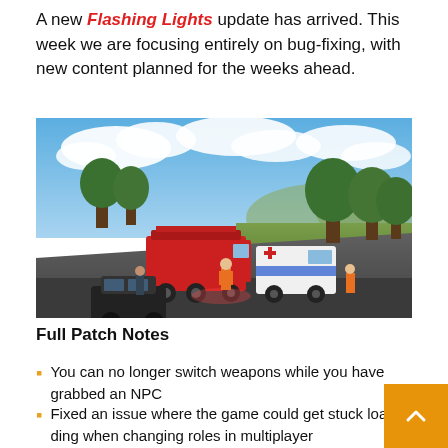A new Flashing Lights update has arrived. This week we are focusing entirely on bug-fixing, with new content planned for the weeks ahead.
[Figure (photo): In-game screenshot from Flashing Lights showing a fire truck and ambulance parked on a road with a black car nearby, emergency responders in orange suits standing by, green hills and trees in the background under a partly cloudy sky.]
Full Patch Notes
You can no longer switch weapons while you have grabbed an NPC
Fixed an issue where the game could get stuck loading when changing roles in multiplayer